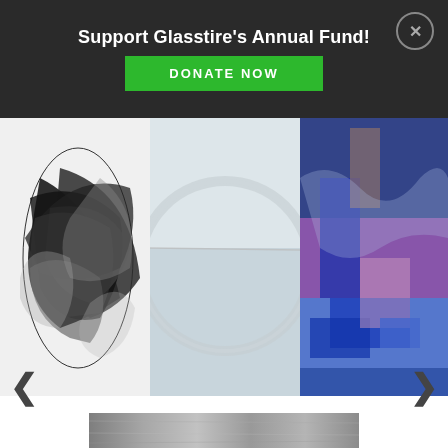Support Glasstire's Annual Fund! DONATE NOW
[Figure (photo): Website screenshot showing a donation banner with dark background, green DONATE NOW button, and close X button]
[Figure (photo): Black metal sculptural artwork with interlocking curved blades, shown on white background]
[Figure (photo): Abstract artwork with a large faint circle on a light grey/white background]
[Figure (photo): Colorful abstract expressionist painting with blues, purples and dark tones, featuring gestural marks]
[Figure (photo): Partial bottom thumbnail image showing a metallic or brushed surface texture]